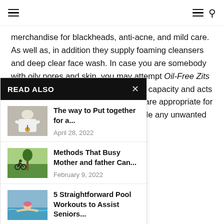Navigation bar with hamburger menu (left), hamburger menu and search icon (right)
merchandise for blackheads, anti-acne, and mild care. As well as, in addition they supply foaming cleansers and deep clear face wash. In case you are somebody with oily pores and skin, you may attempt Oil-Free Zits Wash by Neutrogena. It has cleaning capacity and acts as an astringent. Their merchandise are appropriate for all pores and skin varieties and include any unwanted effects.
race evening cream, deep moisturizer. As well as, appropriate for greasy, dry, and
pores and tightens for and dry pores and skin. fewer amount.
READ ALSO
[Figure (photo): Person in white coat holding a medal, arms crossed]
The way to Put together for a...
April 28, 2022
[Figure (photo): Person riding bicycle in a park with trees]
Methods That Busy Mother and father Can...
February 9, 2022
[Figure (photo): Senior person in a swimming pool]
5 Straightforward Pool Workouts to Assist Seniors...
August 8, 2022